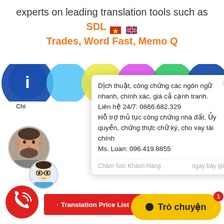experts on leading translation tools such as SDL Trades, Word Fast, Memo Q
[Figure (screenshot): Vietnamese translation service chat popup overlay on a website with colorful circles banner, showing service description, contact info, avatars, phone button, Translation Price List button, and Tro chuyen (chat) button]
Dịch thuật, công chứng các ngôn ngữ nhanh, chính xác, giá cả cạnh tranh. Liên hệ 24/7: 0866.682.329 Hỗ trợ thủ tục công chứng nhà đất, Ủy quyền, chứng thực chữ ký, cho vay tài chính Ms. Loan: 096.419.8855
Chăm Sóc Khách Hàng    ngay bây giờ
Translation Price List
Trò chuyện